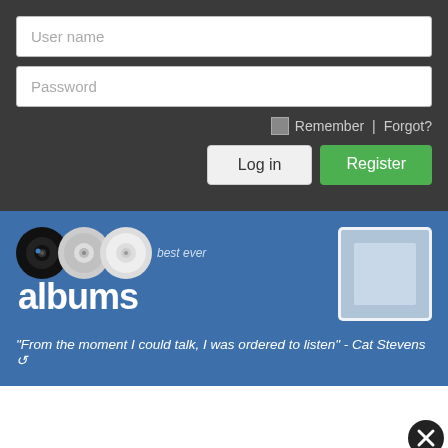User name
Password
Remember | Forgot?
Log in
Register
[Figure (logo): Best Ever Albums logo with vinyl and CD discs and text 'best ever albums']
[Figure (photo): Album art thumbnail placeholder]
"From the moment I could talk, I was ordered to listen" - Cat Stevens
[Figure (other): Close/X button circle in bottom right]